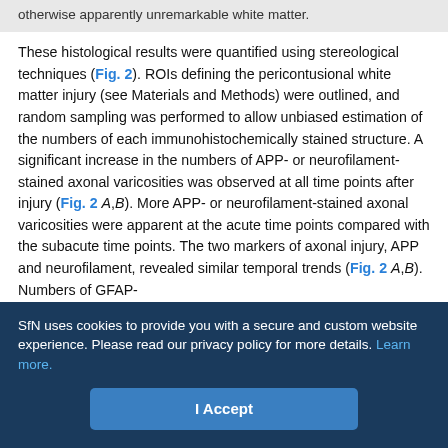otherwise apparently unremarkable white matter.
These histological results were quantified using stereological techniques (Fig. 2). ROIs defining the pericontusional white matter injury (see Materials and Methods) were outlined, and random sampling was performed to allow unbiased estimation of the numbers of each immunohistochemically stained structure. A significant increase in the numbers of APP- or neurofilament-stained axonal varicosities was observed at all time points after injury (Fig. 2 A,B). More APP- or neurofilament-stained axonal varicosities were apparent at the acute time points compared with the subacute time points. The two markers of axonal injury, APP and neurofilament, revealed similar temporal trends (Fig. 2 A,B). Numbers of GFAP-
SfN uses cookies to provide you with a secure and custom website experience. Please read our privacy policy for more details. Learn more.